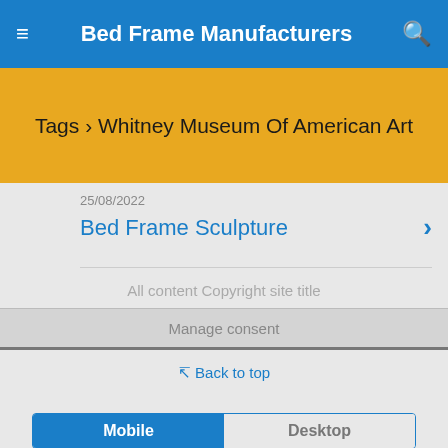Bed Frame Manufacturers
Tags › Whitney Museum Of American Art
25/08/2022
Bed Frame Sculpture
All content Copyright site title
Manage consent
Back to top
Mobile  Desktop